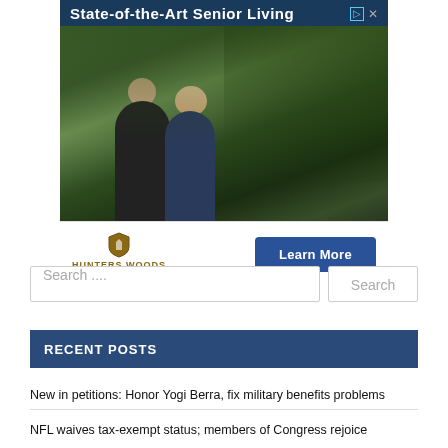[Figure (photo): Advertisement banner for Hunters Woods senior living with two elderly people walking outdoors under trees, with a 'Learn More' button]
Search ....
Search
RECENT POSTS
New in petitions: Honor Yogi Berra, fix military benefits problems
NFL waives tax-exempt status; members of Congress rejoice